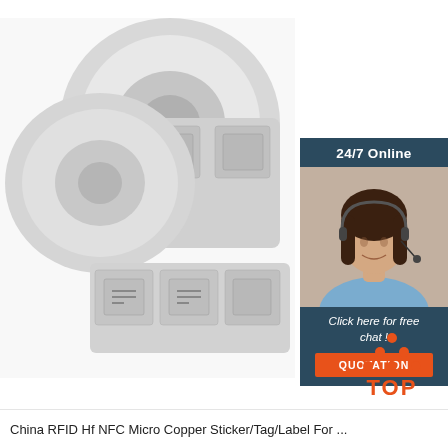[Figure (photo): A roll of RFID HF NFC micro copper sticker/tag/label labels on a white background, showing square sticker labels with printed antenna patterns on a roll of tape, photographed in a product shot style.]
[Figure (infographic): A customer service chat widget in the top-right corner showing '24/7 Online' text, a photo of a smiling female customer service agent wearing a headset, 'Click here for free chat!' text, and an orange QUOTATION button.]
[Figure (logo): A 'TOP' logo in the bottom-right area showing an orange dot-triangle icon above the word TOP in orange text.]
China RFID Hf NFC Micro Copper Sticker/Tag/Label For ...